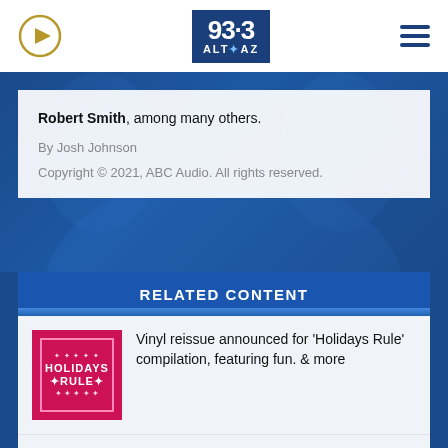93.3 ALT AZ
Robert Smith, among many others.
By Josh Johnson
Copyright © 2021, ABC Audio. All rights reserved.
RELATED CONTENT
Vinyl reissue announced for 'Holidays Rule' compilation, featuring fun. & more
Blood Sugar Stoner Magik: Cheech & Chong